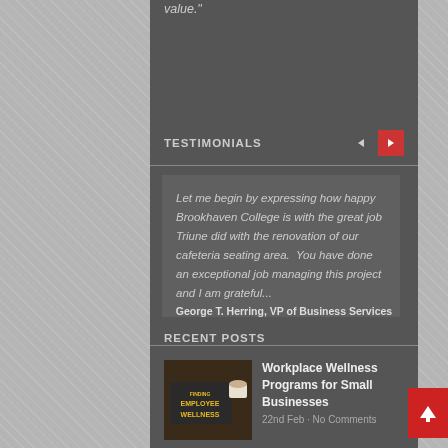value."
TESTIMONIALS
Let me begin by expressing how happy Brookhaven College is with the great job Triune did with the renovation of our cafeteria seating area.  You have done an exceptional job managing this project and I am grateful...
George T. Herring, VP of Business Services
RECENT POSTS
[Figure (photo): Chalkboard with 'Employee Wellness' text and a coffee cup]
Workplace Wellness Programs for Small Businesses
22nd Feb · No Comments